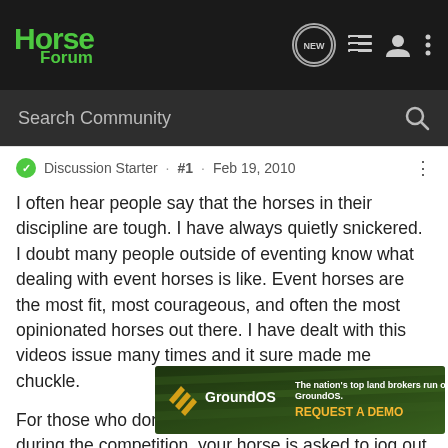Horse Forum
Search Community
Discussion Starter · #1 · Feb 19, 2010
I often hear people say that the horses in their discipline are tough. I have always quietly snickered. I doubt many people outside of eventing know what dealing with event horses is like. Event horses are the most fit, most courageous, and often the most opinionated horses out there. I have dealt with this videos issue many times and it sure made me chuckle.
For those who don't know eventing, several times during the competition, your horse is asked to jog out in front of officials so that they can determine if your horse is sound enough to continue in the competition. It is a very formal affair that is of utmost i
[Figure (advertisement): GroundOS advertisement banner: 'The nation's top land brokers run on GroundOS. REQUEST A DEMO']